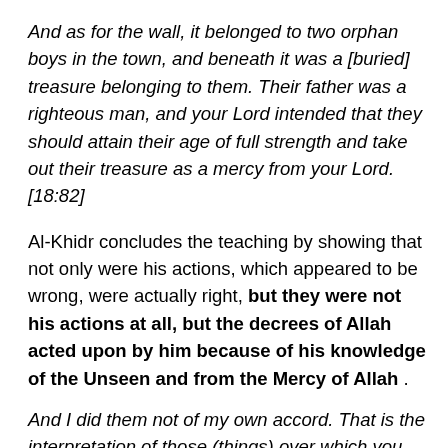And as for the wall, it belonged to two orphan boys in the town, and beneath it was a [buried] treasure belonging to them. Their father was a righteous man, and your Lord intended that they should attain their age of full strength and take out their treasure as a mercy from your Lord. [18:82]
Al-Khidr concludes the teaching by showing that not only were his actions, which appeared to be wrong, were actually right, but they were not his actions at all, but the decrees of Allah acted upon by him because of his knowledge of the Unseen and from the Mercy of Allah .
And I did them not of my own accord. That is the interpretation of those (things) over which you could not be patient. [18:82]